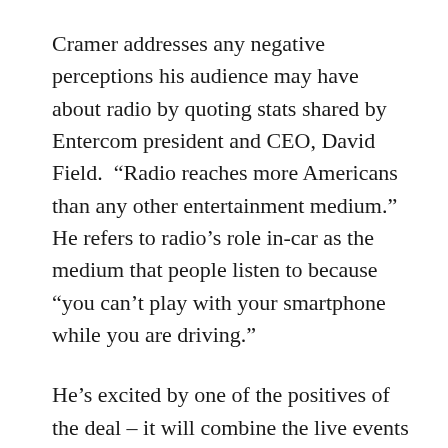Cramer addresses any negative perceptions his audience may have about radio by quoting stats shared by Entercom president and CEO, David Field.  “Radio reaches more Americans than any other entertainment medium.”  He refers to radio’s role in-car as the medium that people listen to because “you can’t play with your smartphone while you are driving.”
He’s excited by one of the positives of the deal – it will combine the live events business of both companies – ranging from over 4500 concerts, music festivals to a speaker series.  As a believer in experiential economy, Cramer sees that millennials, who are apt to pay more for